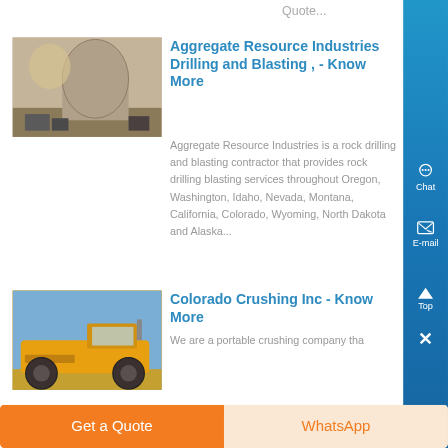Quote...
[Figure (photo): Industrial building interior with large cylindrical tanks/silos and machinery]
Aggregate Resource Industries Drilling and Blasting , - Know More
Aggregate Resource Industries is a rock drilling and blasting contractor that provides rock drilling blasting services throughout Oregon, Washington, Idaho, Nevada, Montana, California, Colorado, Wyoming, North Dakota and Alaska...
[Figure (photo): Yellow motor grader / construction vehicle against blue sky]
Colorado Crushing Inc - Know More
We are a portable crushing company tha
Get a Quote
WhatsApp